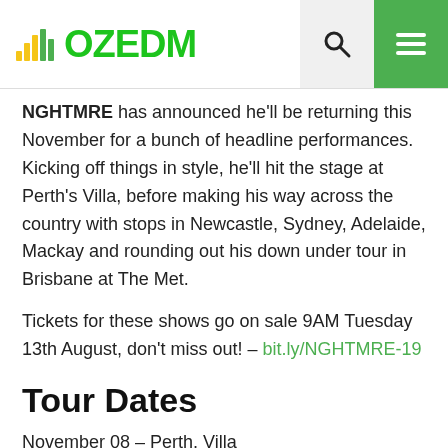OZEDM
NGHTMRE has announced he'll be returning this November for a bunch of headline performances. Kicking off things in style, he'll hit the stage at Perth's Villa, before making his way across the country with stops in Newcastle, Sydney, Adelaide, Mackay and rounding out his down under tour in Brisbane at The Met.
Tickets for these shows go on sale 9AM Tuesday 13th August, don't miss out! – bit.ly/NGHTMRE-19
Tour Dates
November 08 – Perth, Villa